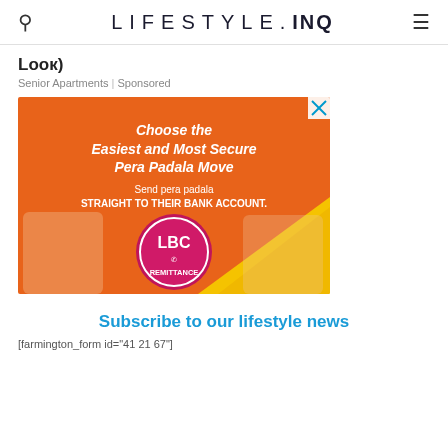LIFESTYLE.INQ
Lock)
Senior Apartments | Sponsored
[Figure (photo): LBC Remittance advertisement. Orange and yellow background with text: 'Choose the Easiest and Most Secure Pera Padala Move. Send pera padala STRAIGHT TO THEIR BANK ACCOUNT.' LBC Remittance logo in center with two people on either side.]
Subscribe to our lifestyle news
[farmington_form id="41 21 67"]